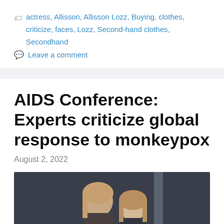actress, Allisson, Allisson Lozz, Buying, clothes, criticize, faces, Lozz, Second-hand clothes, Secondhand
Leave a comment
AIDS Conference: Experts criticize global response to monkeypox
August 2, 2022
[Figure (photo): Photo of two people, appearing to be women with blonde/light brown hair, against a dark background]